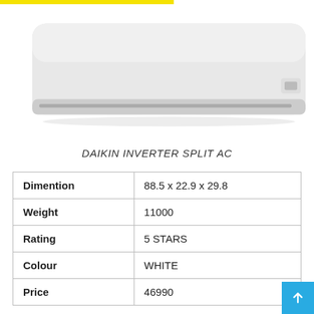[Figure (photo): Daikin inverter split AC indoor wall unit, white, shown from front view]
DAIKIN INVERTER SPLIT AC
| Dimention | 88.5 x 22.9 x 29.8 |
| Weight | 11000 |
| Rating | 5 STARS |
| Colour | WHITE |
| Price | 46990 |